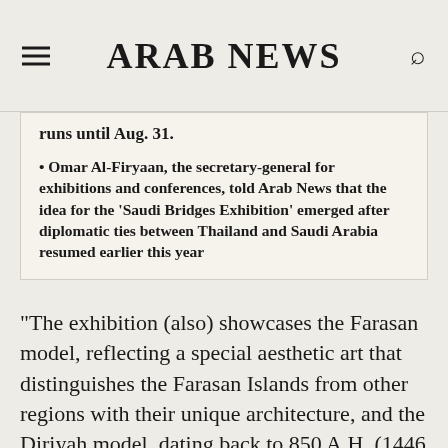ARAB NEWS
runs until Aug. 31.
• Omar Al-Firyaan, the secretary-general for exhibitions and conferences, told Arab News that the idea for the 'Saudi Bridges Exhibition' emerged after diplomatic ties between Thailand and Saudi Arabia resumed earlier this year
“The exhibition (also) showcases the Farasan model, reflecting a special aesthetic art that distinguishes the Farasan Islands from other regions with their unique architecture, and the Diriyah model, dating back to 850 A.H. (1446 A.D.), which includes many monuments and historical palaces built of mud in Naidi architecture style.